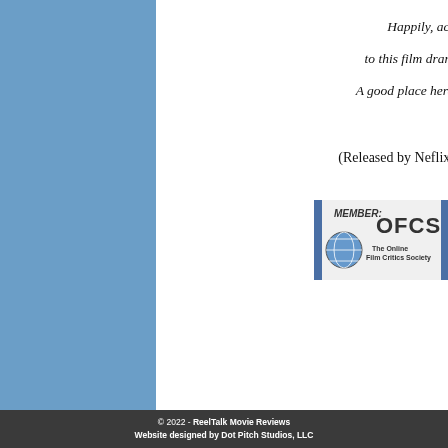Happily, actors add a lot to this film drama's viewing time. A good place here to end this rhyme.
(Released by Neflix and rated “TV-MA”)
[Figure (logo): OFCS Member badge - The Online Film Critics Society logo with globe graphic]
[Figure (logo): San Diego Film Critics Society badge with FILM vertical text in red and black blocks]
© 2022 - ReelTalk Movie Reviews  Website designed by Dot Pitch Studios, LLC